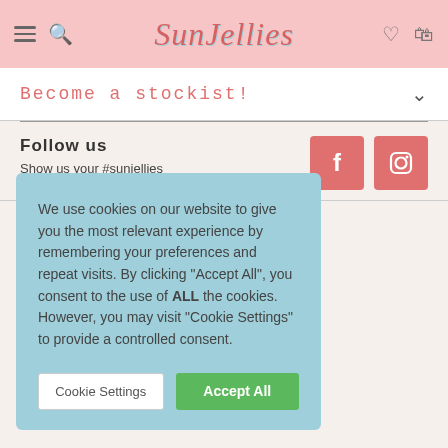SunJellies — navigation header with hamburger menu, search, logo, heart and bag icons
Become a stockist!
Follow us
Show us your #sunjellies
[Figure (logo): Facebook icon button (coral/salmon colored square with white 'f')]
[Figure (logo): Instagram icon button (coral/salmon colored square with white camera outline)]
We use cookies on our website to give you the most relevant experience by remembering your preferences and repeat visits. By clicking "Accept All", you consent to the use of ALL the cookies. However, you may visit "Cookie Settings" to provide a controlled consent.
Cookie Settings
Accept All